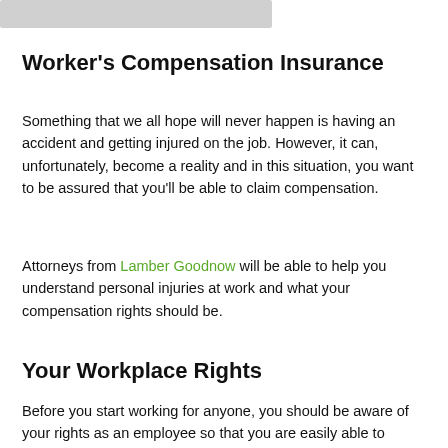[Figure (photo): Partial image placeholder at top left of page]
Worker's Compensation Insurance
Something that we all hope will never happen is having an accident and getting injured on the job. However, it can, unfortunately, become a reality and in this situation, you want to be assured that you'll be able to claim compensation.
Attorneys from Lamber Goodnow will be able to help you understand personal injuries at work and what your compensation rights should be.
Your Workplace Rights
Before you start working for anyone, you should be aware of your rights as an employee so that you are easily able to identify mistreatment and instances of abuse in your new job.